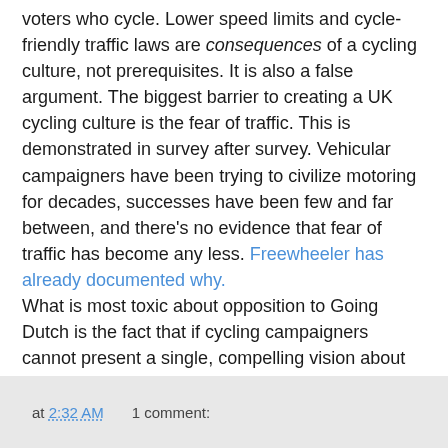voters who cycle. Lower speed limits and cycle-friendly traffic laws are consequences of a cycling culture, not prerequisites. It is also a false argument. The biggest barrier to creating a UK cycling culture is the fear of traffic. This is demonstrated in survey after survey. Vehicular campaigners have been trying to civilize motoring for decades, successes have been few and far between, and there's no evidence that fear of traffic has become any less. Freewheeler has already documented why.
What is most toxic about opposition to Going Dutch is the fact that if cycling campaigners cannot present a single, compelling vision about how mass cycling can be achieved, then we won't convince the politicians or the public. And the fact is, the public understand segregation: I speak to many people who say they would cycle more if there were cycle paths away from traffic. It almost seems like it's only cycle campaigners who don't 'get it'.
at 2:32 AM   1 comment: